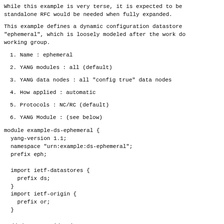While this example is very terse, it is expected to be standalone RFC would be needed when fully expanded.
This example defines a dynamic configuration datastore "ephemeral", which is loosely modeled after the work do working group.
1. Name           : ephemeral
2. YANG modules   : all (default)
3. YANG data nodes : all "config true" data nodes
4. How applied    : automatic
5. Protocols      : NC/RC (default)
6. YANG Module    : (see below)
module example-ds-ephemeral {
  yang-version 1.1;
  namespace "urn:example:ds-ephemeral";
  prefix eph;

  import ietf-datastores {
    prefix ds;
  }
  import ietf-origin {
    prefix or;
  }

  // datastore identity
  identity ds-ephemeral {
    base ds:dynamic;
    description
      "The ephemeral configuration datastore"